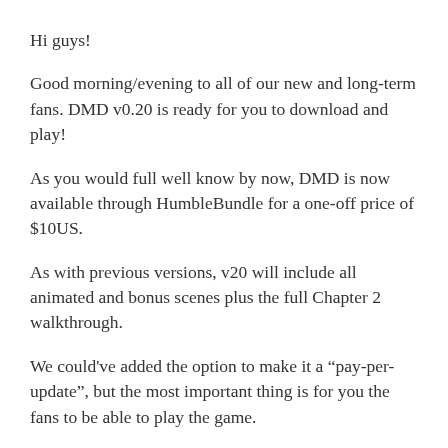Hi guys!
Good morning/evening to all of our new and long-term fans. DMD v0.20 is ready for you to download and play!
As you would full well know by now, DMD is now available through HumbleBundle for a one-off price of $10US.
As with previous versions, v20 will include all animated and bonus scenes plus the full Chapter 2 walkthrough.
We could've added the option to make it a “pay-per-update”, but the most important thing is for you the fans to be able to play the game.
This way makes it more affordable for you all.
However, there is also the option for one-time donors...